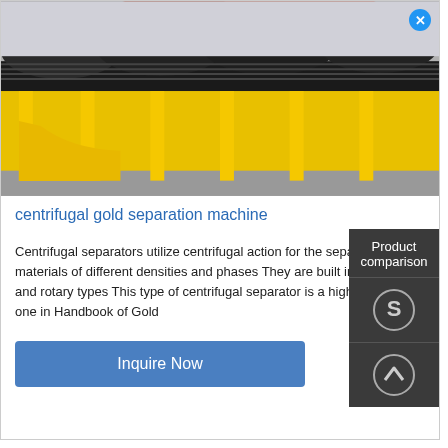[Figure (photo): Industrial centrifugal gold separation machine with yellow metal frame and black conveyor/spiral elements, photographed in a warehouse or factory setting.]
centrifugal gold separation machine
Centrifugal separators utilize centrifugal action for the separation of materials of different densities and phases They are built in stationary and rotary types This type of centrifugal separator is a high efficiency one in Handbook of Gold
Inquire Now